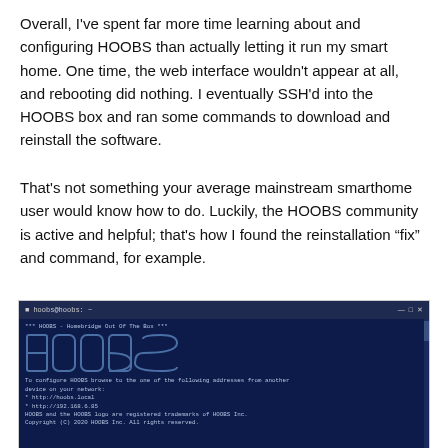Overall, I've spent far more time learning about and configuring HOOBS than actually letting it run my smart home. One time, the web interface wouldn't appear at all, and rebooting did nothing. I eventually SSH'd into the HOOBS box and ran some commands to download and reinstall the software.
That's not something your average mainstream smarthome user would know how to do. Luckily, the HOOBS community is active and helpful; that's how I found the reinstallation “fix” and command, for example.
[Figure (screenshot): SSH terminal window showing HOOBS startup screen with the HOOBS logo in outlined text, configuration instructions showing http://hoobs.local and http://192.168.6.85, and trademark/copyright notice for HOOBS Inc.]